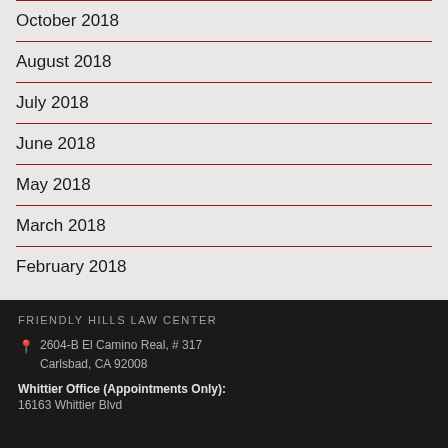October 2018
August 2018
July 2018
June 2018
May 2018
March 2018
February 2018
FRIENDLY HILLS LAW CENTER
2604-B El Camino Real, # 317
Carlsbad, CA 92008
Whittier Office (Appointments Only):
16163 Whittier Blvd